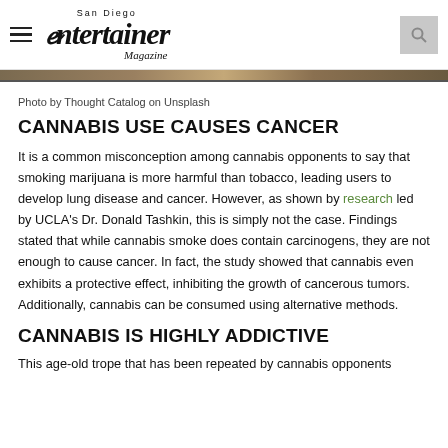San Diego Entertainer Magazine
[Figure (photo): Partial photo strip visible at top of article]
Photo by Thought Catalog on Unsplash
CANNABIS USE CAUSES CANCER
It is a common misconception among cannabis opponents to say that smoking marijuana is more harmful than tobacco, leading users to develop lung disease and cancer. However, as shown by research led by UCLA's Dr. Donald Tashkin, this is simply not the case. Findings stated that while cannabis smoke does contain carcinogens, they are not enough to cause cancer. In fact, the study showed that cannabis even exhibits a protective effect, inhibiting the growth of cancerous tumors. Additionally, cannabis can be consumed using alternative methods.
CANNABIS IS HIGHLY ADDICTIVE
This age-old trope that has been repeated by cannabis opponents